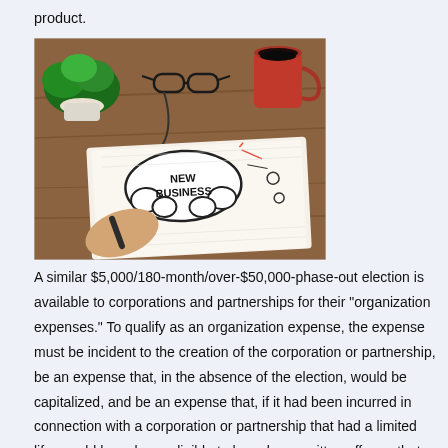product.
[Figure (photo): Photo of a person writing in a notebook on a wooden desk. The notebook shows a hand-drawn 'New Business' mind map with a cloud bubble. A red coffee mug, black glasses, and a green plant are visible on the desk.]
A similar $5,000/180-month/over-$50,000-phase-out election is available to corporations and partnerships for their "organization expenses." To qualify as an organization expense, the expense must be incident to the creation of the corporation or partnership, be an expense that, in the absence of the election, would be capitalized, and be an expense that, if it had been incurred in connection with a corporation or partnership that had a limited life, would have been eligible to have been written off over that